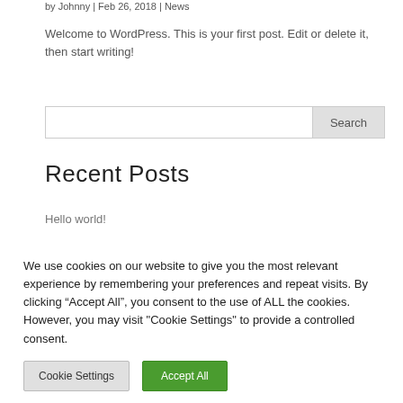by Johnny | Feb 26, 2018 | News
Welcome to WordPress. This is your first post. Edit or delete it, then start writing!
Search
Recent Posts
Hello world!
We use cookies on our website to give you the most relevant experience by remembering your preferences and repeat visits. By clicking “Accept All”, you consent to the use of ALL the cookies. However, you may visit "Cookie Settings" to provide a controlled consent.
Cookie Settings  Accept All